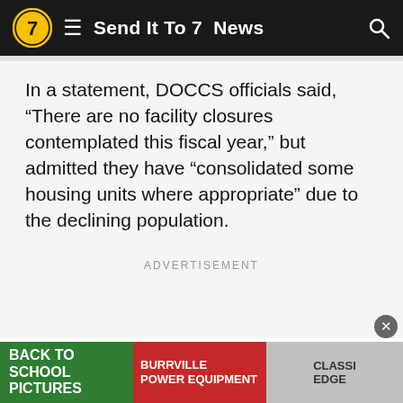Send It To 7  News
In a statement, DOCCS officials said, “There are no facility closures contemplated this fiscal year,” but admitted they have “consolidated some housing units where appropriate” due to the declining population.
ADVERTISEMENT
They go on to say that DOCCS “is experiencing challenges in its recruiting of security staff. However, the Department has been able to maintain a ratio of 1 security staff for every 1.6… atios in the cou…
[Figure (advertisement): Bottom banner advertisement: Back to School Pictures (green), Burrville Power Equipment (red), Classic Edge (grey image area)]